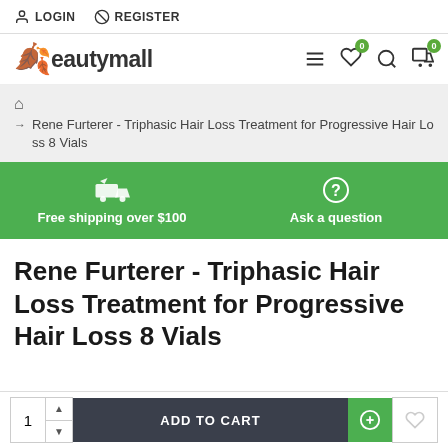LOGIN  REGISTER
[Figure (logo): Beautymall logo with green leaf icon and navigation icons (hamburger menu, heart with 0 badge, search, cart with 0 badge)]
Rene Furterer - Triphasic Hair Loss Treatment for Progressive Hair Loss 8 Vials
Free shipping over $100    Ask a question
Rene Furterer - Triphasic Hair Loss Treatment for Progressive Hair Loss 8 Vials
1  ADD TO CART